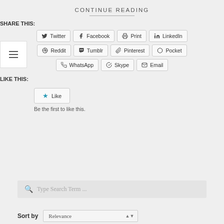CONTINUE READING
SHARE THIS:
Twitter | Facebook | Print | LinkedIn
Reddit | Tumblr | Pinterest | Pocket
WhatsApp | Skype | Email
LIKE THIS:
Like
Be the first to like this.
Type Search Term ...
Sort by  Relevance